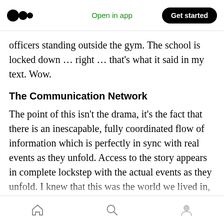Open in app | Get started
officers standing outside the gym. The school is locked down … right … that's what it said in my text. Wow.
The Communication Network
The point of this isn't the drama, it's the fact that there is an inescapable, fully coordinated flow of information which is perfectly in sync with real events as they unfold. Access to the story appears in complete lockstep with the actual events as they unfold. I knew that this was the world we lived in, but it's different when it
Home | Search | Profile